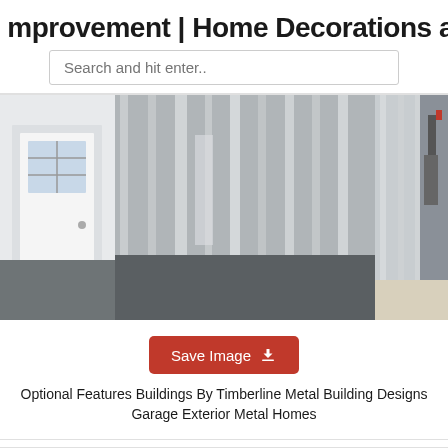improvement | Home Decorations and
Search and hit enter..
[Figure (photo): Metal building exterior showing corrugated steel siding in gray, with a white door with window panes visible on the left, and additional metal panels and structures visible in the background.]
Save Image
Optional Features Buildings By Timberline Metal Building Designs Garage Exterior Metal Homes
[Figure (photo): Close-up of a building's exterior showing gutters and metal cladding with dark gray window frames visible.]